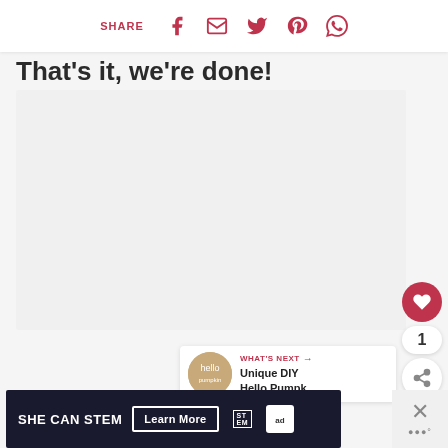SHARE
That's it, we're done!
[Figure (photo): Large light-gray image placeholder area]
[Figure (infographic): Floating heart/like button (red circle with heart icon), count badge showing 1, and share icon button]
[Figure (infographic): What's Next panel with thumbnail and text: Unique DIY Hello Pumpk...]
[Figure (screenshot): Ad banner: SHE CAN STEM Learn More, with STEM logo and ad badge, plus close button area]